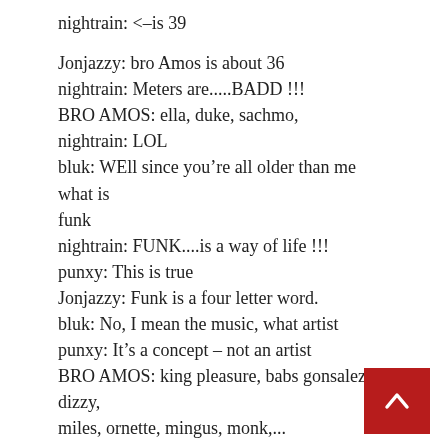nightrain: <–is 39
Jonjazzy: bro Amos is about 36
nightrain: Meters are.....BADD !!!
BRO AMOS: ella, duke, sachmo,
nightrain: LOL
bluk: WEll since you're all older than me what is funk
nightrain: FUNK....is a way of life !!!
punxy: This is true
Jonjazzy: Funk is a four letter word.
bluk: No, I mean the music, what artist
punxy: It's a concept – not an artist
BRO AMOS: king pleasure, babs gonsalez, dizzy, miles, ornette, mingus, monk,...
nightrain: hmmm
Jonjazzy: Hey nighttrain you remember that song